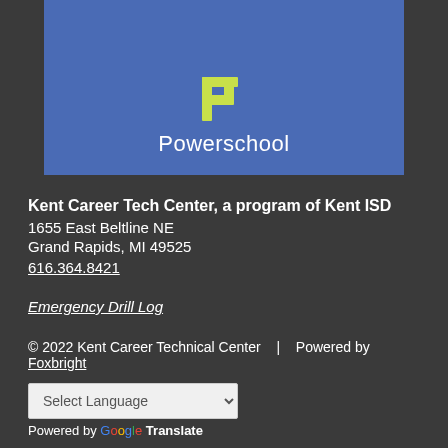[Figure (logo): Powerschool logo on blue background with stylized 'IP' icon in yellow-green and text 'Powerschool' in white]
Kent Career Tech Center, a program of Kent ISD
1655 East Beltline NE
Grand Rapids, MI 49525
616.364.8421
Emergency Drill Log
© 2022 Kent Career Technical Center  |  Powered by Foxbright
Select Language
Powered by Google Translate
Download the latest PDF Viewer